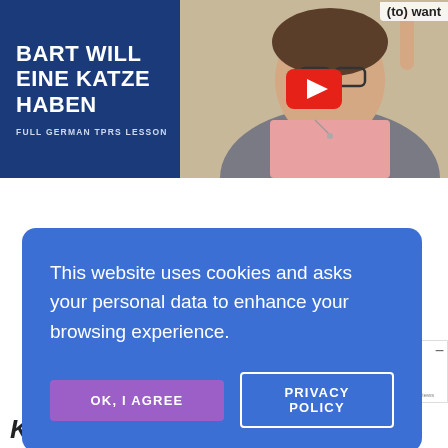[Figure (screenshot): YouTube video thumbnail showing 'BART WILL EINE KATZE HABEN - FULL GERMAN TPRS LESSON' with a woman pointing upward and a YouTube play button in the center. Partial text '(to) want' visible top right.]
This website uses cookies and asks your personal data to enhance your browsing experience.
OK, I AGREE
PRIVACY POLICY
ENT
reviews
Authenticity of reviews
Kathrin Hudalmeyer